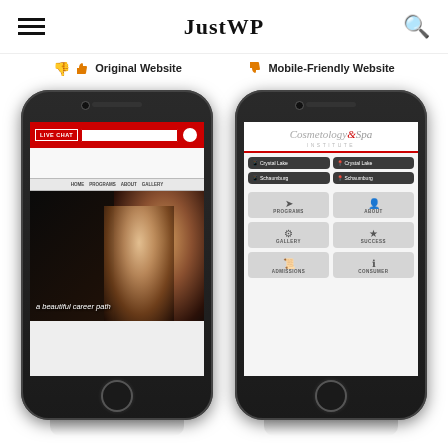JustWP
Original Website
Mobile-Friendly Website
[Figure (screenshot): Two smartphones shown side by side. Left phone shows a non-mobile-friendly website with red navigation bar, 'a beautiful career path' text over dark hero image with blonde model. Right phone shows mobile-friendly Cosmetology & Spa Institute website with location buttons and navigation grid tiles.]